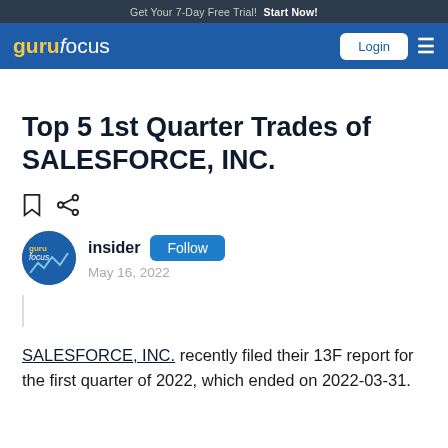Get Your 7-Day Free Trial!  Start Now!
gurufocus  Login
Top 5 1st Quarter Trades of SALESFORCE, INC.
insider  Follow  May 16, 2022
SALESFORCE, INC. recently filed their 13F report for the first quarter of 2022, which ended on 2022-03-31.